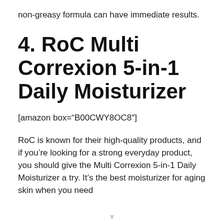non-greasy formula can have immediate results.
4. RoC Multi Correxion 5-in-1 Daily Moisturizer
[amazon box=“B00CWY8OC8″]
RoC is known for their high-quality products, and if you’re looking for a strong everyday product, you should give the Multi Correxion 5-in-1 Daily Moisturizer a try. It’s the best moisturizer for aging skin when you need